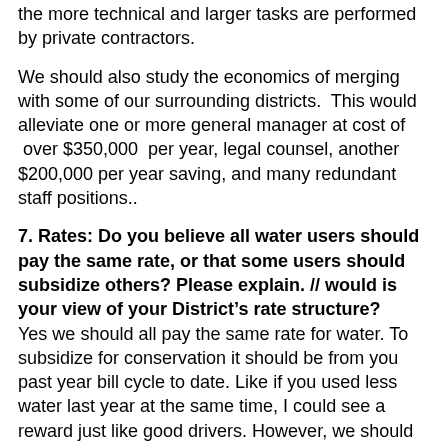the more technical and larger tasks are performed by private contractors.
We should also study the economics of merging with some of our surrounding districts.  This would alleviate one or more general manager at cost of  over $350,000  per year, legal counsel, another $200,000 per year saving, and many redundant staff positions..
7. Rates: Do you believe all water users should pay the same rate, or that some users should subsidize others? Please explain. // would is your view of your District’s rate structure?
Yes we should all pay the same rate for water. To subsidize for conservation it should be from you past year bill cycle to date. Like if you used less water last year at the same time, I could see a reward just like good drivers. However, we should all start out the same rate and meter.  I would support a water budget approach for each ratepayer.  Those that require more water, because of family size or lot size etc. would be allocated a larger base